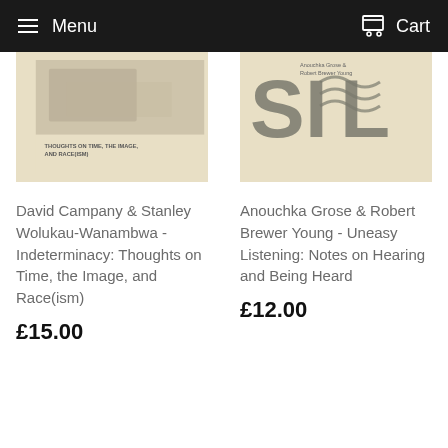Menu   Cart
[Figure (photo): Book cover for Indeterminacy: Thoughts on Time, the Image, and Race(ism) by David Campany & Stanley Wolukau-Wanambwa. Beige/cream cover with a faded photographic image and title text.]
David Campany & Stanley Wolukau-Wanambwa - Indeterminacy: Thoughts on Time, the Image, and Race(ism)
£15.00
[Figure (photo): Book cover for Uneasy Listening: Notes on Hearing and Being Heard by Anouchka Grose & Robert Brewer Young. Cream cover with large stylized letters and wavy graphic elements in gray.]
Anouchka Grose & Robert Brewer Young - Uneasy Listening: Notes on Hearing and Being Heard
£12.00